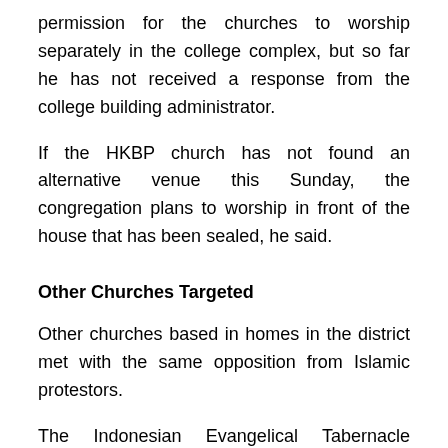permission for the churches to worship separately in the college complex, but so far he has not received a response from the college building administrator.
If the HKBP church has not found an alternative venue this Sunday, the congregation plans to worship in front of the house that has been sealed, he said.
Other Churches Targeted
Other churches based in homes in the district met with the same opposition from Islamic protestors.
The Indonesian Evangelical Tabernacle Church (GKII), which began 20 years ago, met at 9:15 a.m. but the Islamic demonstrators appeared and insisted that they